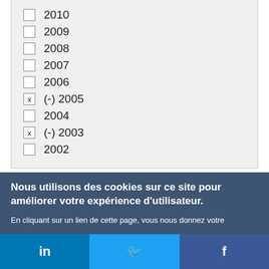2010
2009
2008
2007
2006
(-) 2005
2004
(-) 2003
2002
Nous utilisons des cookies sur ce site pour améliorer votre expérience d'utilisateur.
En cliquant sur un lien de cette page, vous nous donnez votre consentement de définir des cookies.
in  f